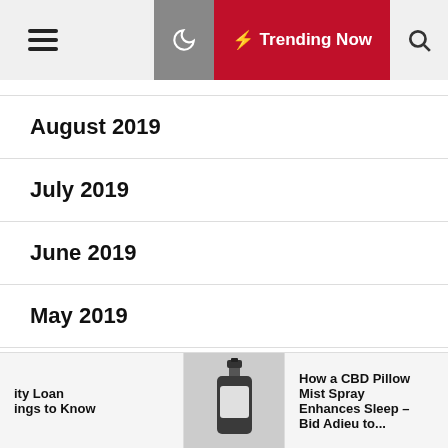Trending Now
August 2019
July 2019
June 2019
May 2019
April 2019
March 2019
February 2019
ity Loan ings to Know | How a CBD Pillow Mist Spray Enhances Sleep – Bid Adieu to...